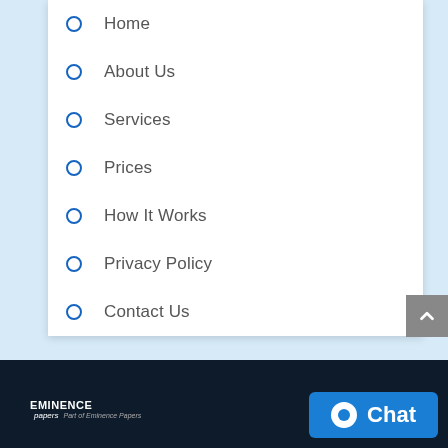Home
About Us
Services
Prices
How It Works
Privacy Policy
Contact Us
[Figure (logo): Eminence Papers logo with text 'Part of Eminence Papers']
[Figure (other): Chat button with chat bubble icon and 'Chat' text]